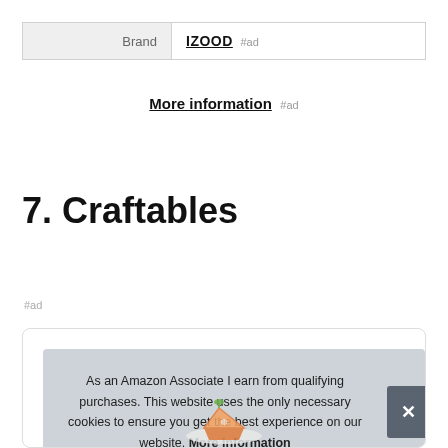| Brand | IZOOD #ad |
| --- | --- |
More information #ad
7. Craftables
#ad
As an Amazon Associate I earn from qualifying purchases. This website uses the only necessary cookies to ensure you get the best experience on our website. More information